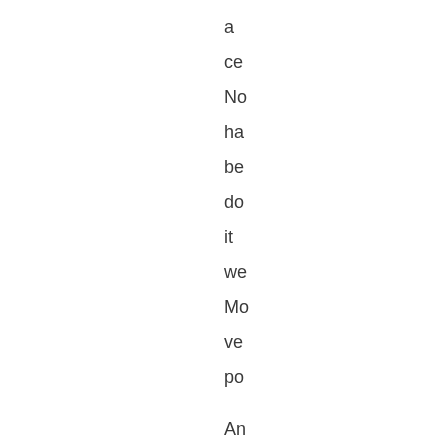a
ce
No
ha
be
do
it
we
Mo
ve
po

An
for
tho
wh
thi